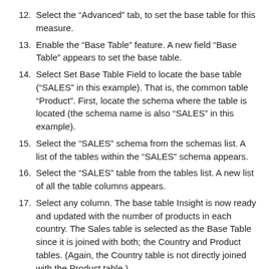12. Select the “Advanced” tab, to set the base table for this measure.
13. Enable the “Base Table” feature. A new field “Base Table” appears to set the base table.
14. Select Set Base Table Field to locate the base table (“SALES” in this example). That is, the common table “Product”. First, locate the schema where the table is located (the schema name is also “SALES” in this example).
15. Select the “SALES” schema from the schemas list. A list of the tables within the “SALES” schema appears.
16. Select the “SALES” table from the tables list. A new list of all the table columns appears.
17. Select any column. The base table Insight is now ready and updated with the number of products in each country. The Sales table is selected as the Base Table since it is joined with both; the Country and Product tables. (Again, the Country table is not directly joined with the Product table.)